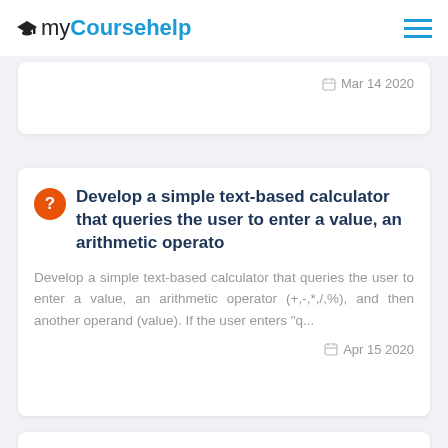myCoursehelp
Mar 14 2020
Develop a simple text-based calculator that queries the user to enter a value, an arithmetic operato
Develop a simple text-based calculator that queries the user to enter a value, an arithmetic operator (+,-,*,/,%), and then another operand (value). If the user enters "q...
Apr 15 2020